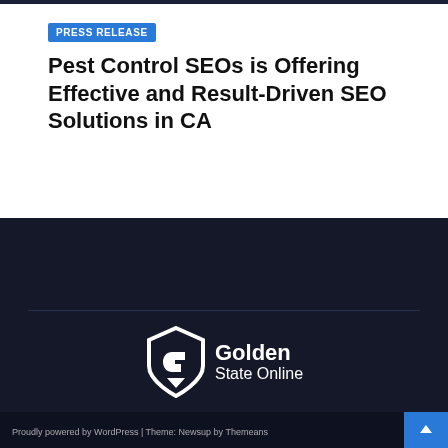PRESS RELEASE
Pest Control SEOs is Offering Effective and Result-Driven SEO Solutions in CA
[Figure (logo): Golden State Online logo with shield icon and white text on dark navy background]
[Figure (infographic): Two red social media icon buttons: YouTube and Pinterest]
Proudly powered by WordPress | Theme: Newsup by Themeans